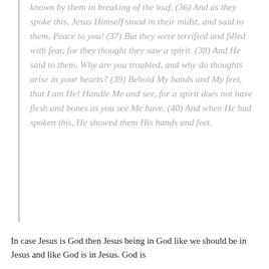known by them in breaking of the loaf. (36) And as they spoke this, Jesus Himself stood in their midst, and said to them, Peace to you! (37) But they were terrified and filled with fear, for they thought they saw a spirit. (38) And He said to them, Why are you troubled, and why do thoughts arise in your hearts? (39) Behold My hands and My feet, that I am He! Handle Me and see, for a spirit does not have flesh and bones as you see Me have. (40) And when He had spoken this, He showed them His hands and feet.
In case Jesus is God then Jesus being in God like we should be in Jesus and like God is in Jesus. God is...